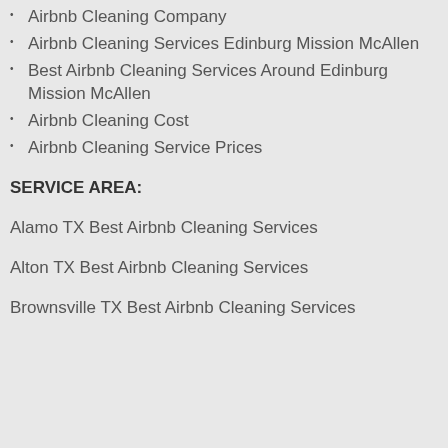Airbnb Cleaning Company
Airbnb Cleaning Services Edinburg Mission McAllen
Best Airbnb Cleaning Services Around Edinburg Mission McAllen
Airbnb Cleaning Cost
Airbnb Cleaning Service Prices
SERVICE AREA:
Alamo TX Best Airbnb Cleaning Services
Alton TX Best Airbnb Cleaning Services
Brownsville TX Best Airbnb Cleaning Services